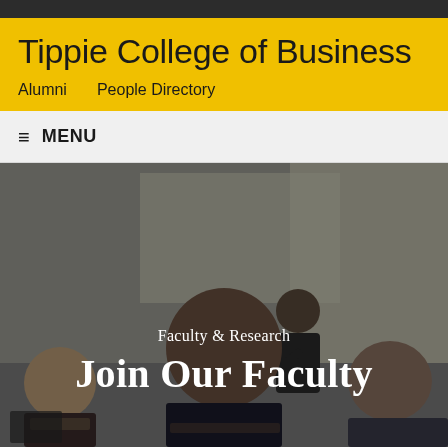Tippie College of Business
Alumni    People Directory
≡ MENU
[Figure (photo): A classroom or conference room scene with a presenter standing at the front speaking to seated attendees viewed from behind, overlaid with text 'Faculty & Research' and 'Join Our Faculty']
Faculty & Research
Join Our Faculty